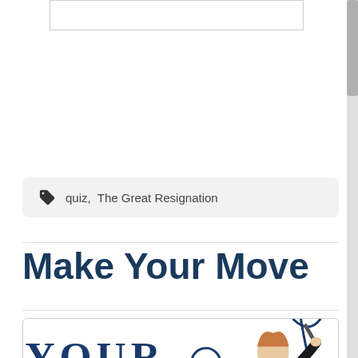[Figure (other): Partial view of a content box at the top of the page]
quiz,  The Great Resignation
Make Your Move
[Figure (illustration): Image showing the text 'YOUR MOVE' in large dark blue serif letters on a white background, with an outline figure drawing and a woman in business attire (black blazer, black skirt) holding papers and posing dynamically]